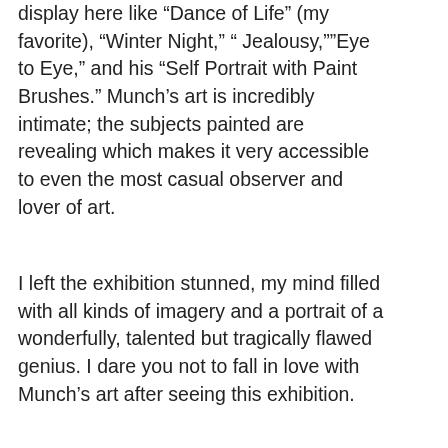display here like “Dance of Life” (my favorite), “Winter Night,” “ Jealousy,””Eye to Eye,” and his “Self Portrait with Paint Brushes.” Munch’s art is incredibly intimate; the subjects painted are revealing which makes it very accessible to even the most casual observer and lover of art.
I left the exhibition stunned, my mind filled with all kinds of imagery and a portrait of a wonderfully, talented but tragically flawed genius. I dare you not to fall in love with Munch’s art after seeing this exhibition.
[Figure (other): A teal circular like/heart button icon and a share button icon with a count of 1]